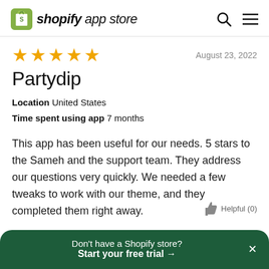shopify app store
★★★★★   August 23, 2022
Partydip
Location  United States
Time spent using app  7 months
This app has been useful for our needs. 5 stars to the Sameh and the support team. They address our questions very quickly. We needed a few tweaks to work with our theme, and they completed them right away.
Don't have a Shopify store? Start your free trial →